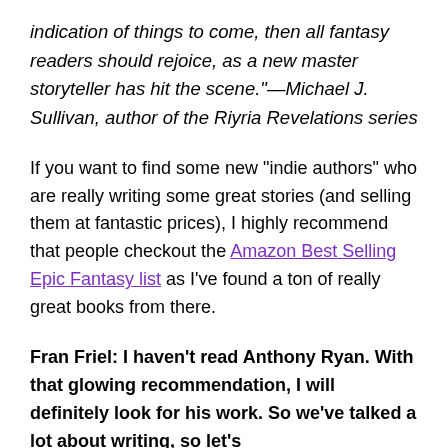indication of things to come, then all fantasy readers should rejoice, as a new master storyteller has hit the scene."—Michael J. Sullivan, author of the Riyria Revelations series
If you want to find some new "indie authors" who are really writing some great stories (and selling them at fantastic prices), I highly recommend that people checkout the Amazon Best Selling Epic Fantasy list as I've found a ton of really great books from there.
Fran Friel: I haven't read Anthony Ryan. With that glowing recommendation, I will definitely look for his work. So we've talked a lot about writing, so let's